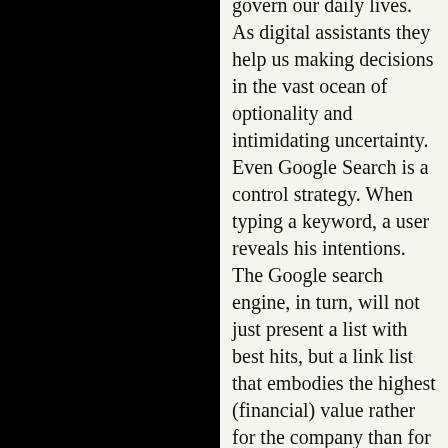govern our daily lives. As digital assistants they help us making decisions in the vast ocean of optionality and intimidating uncertainty. Even Google Search is a control strategy. When typing a keyword, a user reveals his intentions. The Google search engine, in turn, will not just present a list with best hits, but a link list that embodies the highest (financial) value rather for the company than for the user. Doing it that way, i.e. listing corporate offerings at the very top of the search results, Google controls the user’s next clicks. This, the European Union argues, is a misuse.